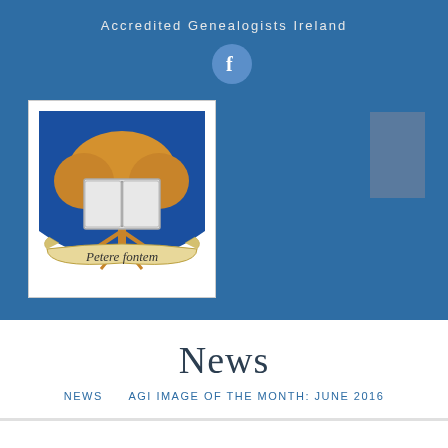Accredited Genealogists Ireland
[Figure (logo): Facebook icon in a blue circle]
[Figure (photo): Coat of arms / heraldic crest with a golden tree, open book, blue shield background, and scroll banner reading 'Petere fontem']
[Figure (other): Gray rectangle placeholder box]
News
NEWS   AGI IMAGE OF THE MONTH: JUNE 2016